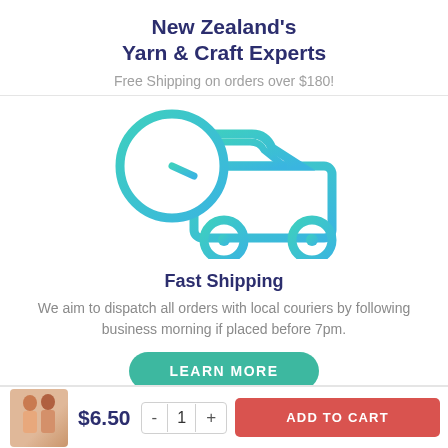New Zealand's Yarn & Craft Experts
Free Shipping on orders over $180!
[Figure (illustration): Teal/turquoise icon of a delivery truck with a clock overlaid on the front, indicating fast shipping.]
Fast Shipping
We aim to dispatch all orders with local couriers by following business morning if placed before 7pm.
LEARN MORE
$6.50  -  1  +  ADD TO CART